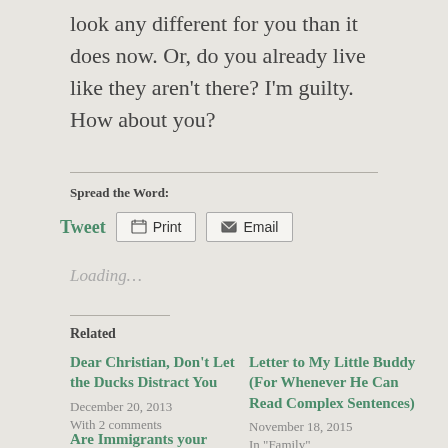look any different for you than it does now. Or, do you already live like they aren't there? I'm guilty. How about you?
Spread the Word:
Loading...
Related
Dear Christian, Don't Let the Ducks Distract You
December 20, 2013
With 2 comments
Letter to My Little Buddy (For Whenever He Can Read Complex Sentences)
November 18, 2015
In "Family"
Are Immigrants your